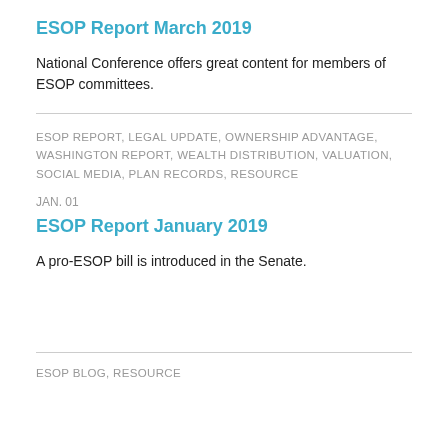ESOP Report March 2019
National Conference offers great content for members of ESOP committees.
ESOP REPORT, LEGAL UPDATE, OWNERSHIP ADVANTAGE, WASHINGTON REPORT, WEALTH DISTRIBUTION, VALUATION, SOCIAL MEDIA, PLAN RECORDS, RESOURCE
JAN. 01
ESOP Report January 2019
A pro-ESOP bill is introduced in the Senate.
ESOP BLOG, RESOURCE